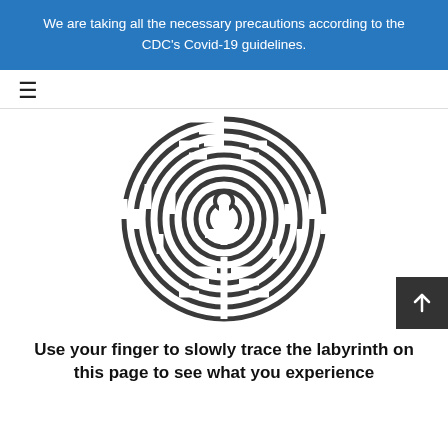We are taking all the necessary precautions according to the CDC’s Covid-19 guidelines.
[Figure (illustration): Circular labyrinth maze illustration with concentric paths and a central circular opening]
Use your finger to slowly trace the labyrinth on this page to see what you experience